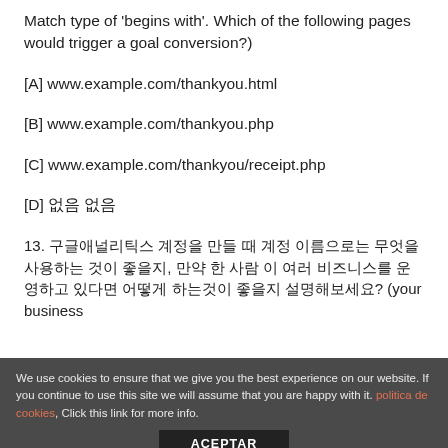Match type of 'begins with'. Which of the following pages would trigger a goal conversion?)
[A] www.example.com/thankyou.html
[B] www.example.com/thankyou.php
[C] www.example.com/thankyou/receipt.php
[D] 없음 없음
13. 구글애널리틱스 계정을 만들 때 계정 이름으로는 무엇을 사용하는 것이 좋을지, 만약 한 사람 이 여러 비즈니스를 운영하고 있다면 어떻게 하는것이 좋을지 설명해보세요? (your business
We use cookies to ensure that we give you the best experience on our website. If you continue to use this site we will assume that you are happy with it. politica de cookies, Click this link for more info.
ACEPTAR